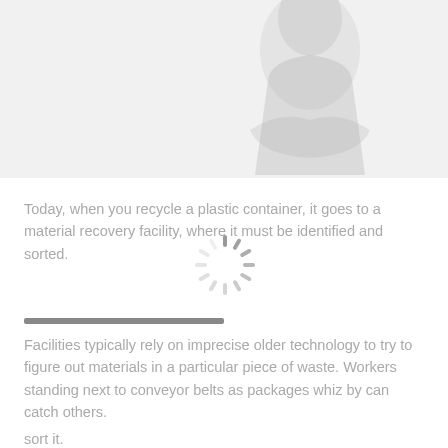5
[Figure (photo): Person with arms crossed, partially visible, faded/greyed out]
Today, when you recycle a plastic container, it goes to a material recovery facility, where it must be identified and sorted.
Facilities typically rely on imprecise older technology to try to figure out materials in a particular piece of waste. Workers standing next to conveyor belts as packages whiz by can catch others.
sort it.